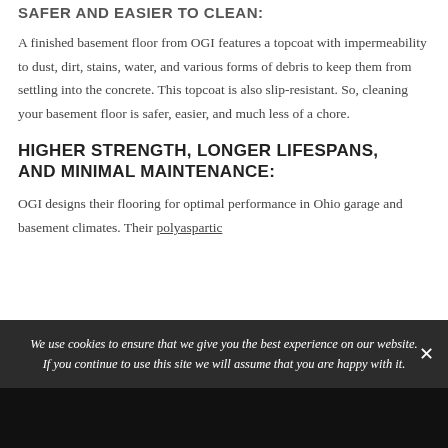SAFER AND EASIER TO CLEAN:
A finished basement floor from OGI features a topcoat with impermeability to dust, dirt, stains, water, and various forms of debris to keep them from settling into the concrete. This topcoat is also slip-resistant. So, cleaning your basement floor is safer, easier, and much less of a chore.
HIGHER STRENGTH, LONGER LIFESPANS, AND MINIMAL MAINTENANCE:
OGI designs their flooring for optimal performance in Ohio garage and basement climates. Their polyaspartic
We use cookies to ensure that we give you the best experience on our website. If you continue to use this site we will assume that you are happy with it.